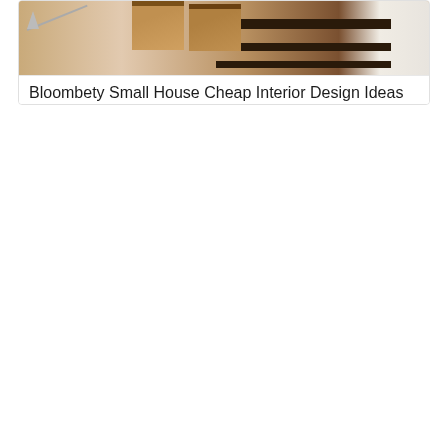[Figure (photo): Interior design photo showing woven/rattan storage boxes or baskets on dark shelving, with warm beige and brown tones. A diagonal line element appears in the upper left.]
Bloombety Small House Cheap Interior Design Ideas